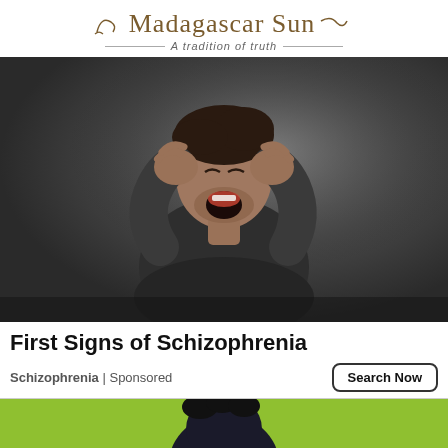Madagascar Sun — A tradition of truth
[Figure (photo): Man in distress, hands pressed over ears, eyes shut tight, mouth open screaming, wearing dark grey sweater, dramatic grey background lighting]
First Signs of Schizophrenia
Schizophrenia | Sponsored
[Figure (illustration): Partial view of an illustrated figure on a lime green background at the bottom of the page]